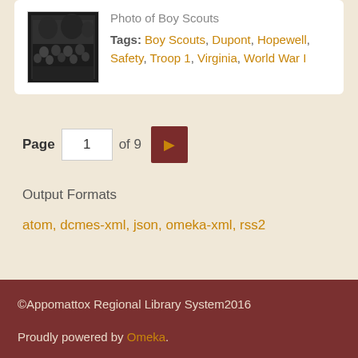[Figure (photo): Black and white historical photograph of a group of Boy Scouts]
Photo of Boy Scouts
Tags: Boy Scouts, Dupont, Hopewell, Safety, Troop 1, Virginia, World War I
Page 1 of 9
Output Formats
atom, dcmes-xml, json, omeka-xml, rss2
©Appomattox Regional Library System2016
Proudly powered by Omeka.